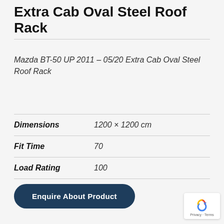Extra Cab Oval Steel Roof Rack
Mazda BT-50 UP 2011 – 05/20 Extra Cab Oval Steel Roof Rack
| Attribute | Value |
| --- | --- |
| Dimensions | 1200 × 1200 cm |
| Fit Time | 70 |
| Load Rating | 100 |
Enquire About Product